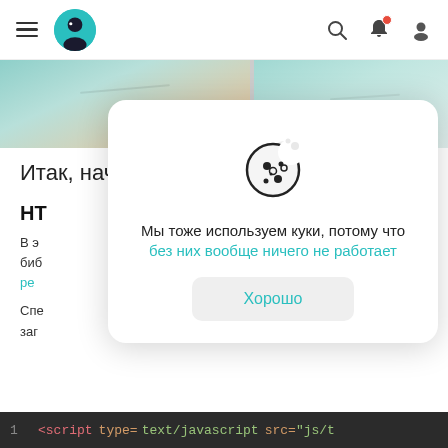Navigation bar with hamburger menu, logo, search, notification, and user icons
[Figure (screenshot): Two side-by-side image thumbnails showing a teal/mint colored surface with slight fold or crease, and peach/warm background]
Итак, начнём!
НТ
В э... биб... о- ре...
Спе... заг...
[Figure (screenshot): Cookie consent dialog overlay with cookie icon, text 'Мы тоже используем куки, потому что без них вообще ничего не работает' and button 'Хорошо']
1   <script type= text/javascript  src="js/t...